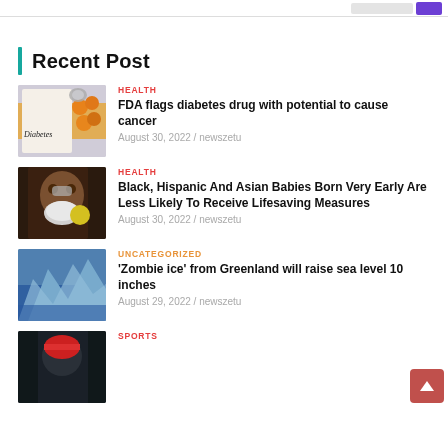Recent Post
[Figure (photo): Diabetes label with orange pills and beads]
HEALTH
FDA flags diabetes drug with potential to cause cancer
August 30, 2022 / newszetu
[Figure (photo): Woman wearing face mask holding yellow object]
HEALTH
Black, Hispanic And Asian Babies Born Very Early Are Less Likely To Receive Lifesaving Measures
August 30, 2022 / newszetu
[Figure (photo): Icy blue glacier or iceberg scene]
UNCATEGORIZED
'Zombie ice' from Greenland will raise sea level 10 inches
August 29, 2022 / newszetu
[Figure (photo): Sports figure partial view]
SPORTS